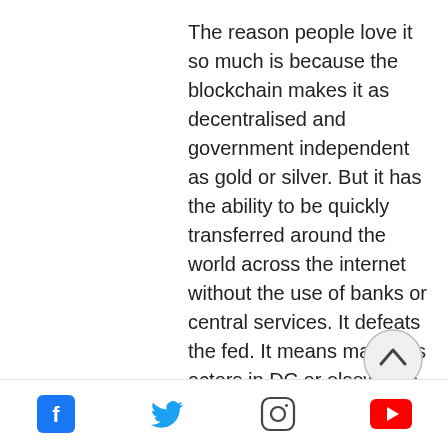The reason people love it so much is because the blockchain makes it as decentralised and government independent as gold or silver. But it has the ability to be quickly transferred around the world across the internet without the use of banks or central services. It defeats the fed. It means malicious actors in DC or elsewhere can't print your money into nothingness with inflation. It's difficult for them to seize or move without your permission. No one can freeze your account. It provides solutions to the problems of the massively centralised and government controlled modern fiat and
[Figure (other): Circular scroll-up button with upward chevron arrow]
Social media icons: Facebook, Twitter, Instagram, YouTube